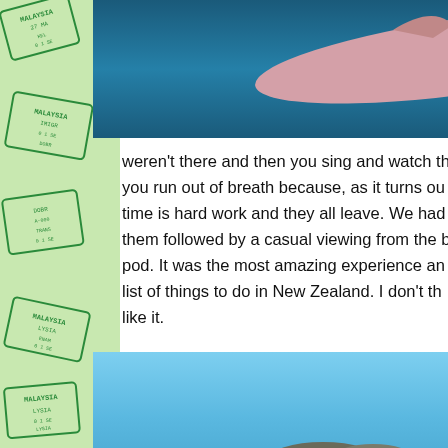[Figure (photo): Close-up photograph of a dolphin's face/snout with pinkish skin against blue water background. Watermark text visible in bottom right corner.]
ot sm m Th weren't there and then you sing and watch th you run out of breath because, as it turns ou time is hard work and they all leave. We had them followed by a casual viewing from the b pod. It was the most amazing experience an list of things to do in New Zealand. I don't th like it.
[Figure (photo): Photograph of a bright blue clear sky over a deep blue ocean/sea, with rocks or a small rocky outcrop visible near the water surface in the middle distance.]